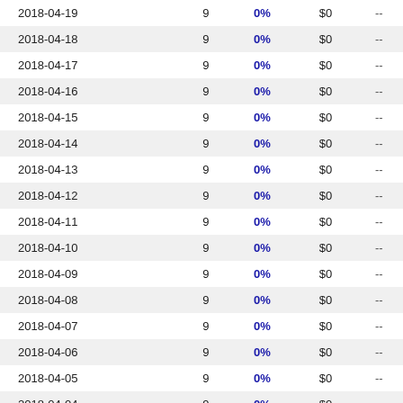| Date |  | 0% | $0 | -- |
| --- | --- | --- | --- | --- |
| 2018-04-19 | 9 | 0% | $0 | -- |
| 2018-04-18 | 9 | 0% | $0 | -- |
| 2018-04-17 | 9 | 0% | $0 | -- |
| 2018-04-16 | 9 | 0% | $0 | -- |
| 2018-04-15 | 9 | 0% | $0 | -- |
| 2018-04-14 | 9 | 0% | $0 | -- |
| 2018-04-13 | 9 | 0% | $0 | -- |
| 2018-04-12 | 9 | 0% | $0 | -- |
| 2018-04-11 | 9 | 0% | $0 | -- |
| 2018-04-10 | 9 | 0% | $0 | -- |
| 2018-04-09 | 9 | 0% | $0 | -- |
| 2018-04-08 | 9 | 0% | $0 | -- |
| 2018-04-07 | 9 | 0% | $0 | -- |
| 2018-04-06 | 9 | 0% | $0 | -- |
| 2018-04-05 | 9 | 0% | $0 | -- |
| 2018-04-04 | 9 | 0% | $0 | -- |
| 2018-04-03 | 9 | 0% | $0 | -- |